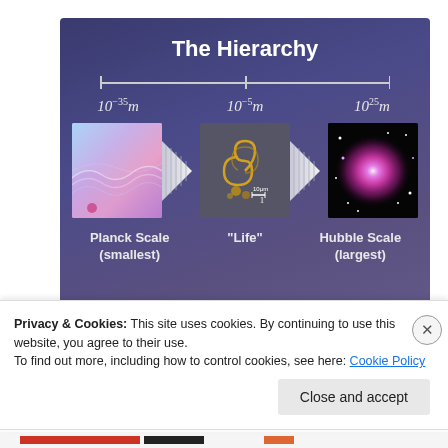[Figure (infographic): The Hierarchy infographic showing scale from Planck Scale (10^-35 m, smallest) through 'Life' (10^-5 m) to Hubble Scale (10^25 m, largest), with images and arrows on a dark blue-purple background.]
Privacy & Cookies: This site uses cookies. By continuing to use this website, you agree to their use.
To find out more, including how to control cookies, see here: Cookie Policy